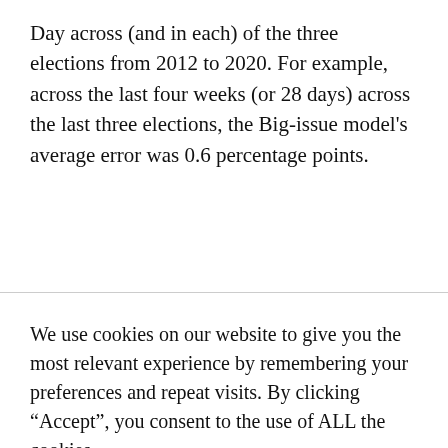Day across (and in each) of the three elections from 2012 to 2020. For example, across the last four weeks (or 28 days) across the last three elections, the Big-issue model's average error was 0.6 percentage points.
We use cookies on our website to give you the most relevant experience by remembering your preferences and repeat visits. By clicking “Accept”, you consent to the use of ALL the cookies.
Cookie settings  ACCEPT